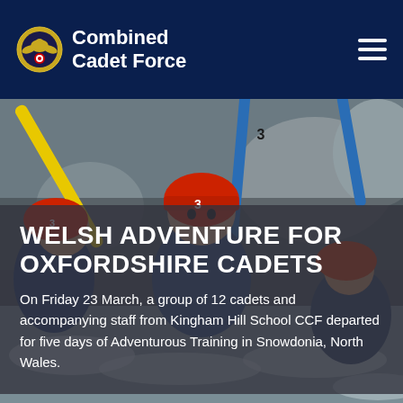[Figure (photo): Background photo of young cadets in red helmets kayaking/canoeing through white water rapids in Wales, with yellow and blue paddles visible]
Combined Cadet Force
WELSH ADVENTURE FOR OXFORDSHIRE CADETS
On Friday 23 March, a group of 12 cadets and accompanying staff from Kingham Hill School CCF departed for five days of Adventurous Training in Snowdonia, North Wales.